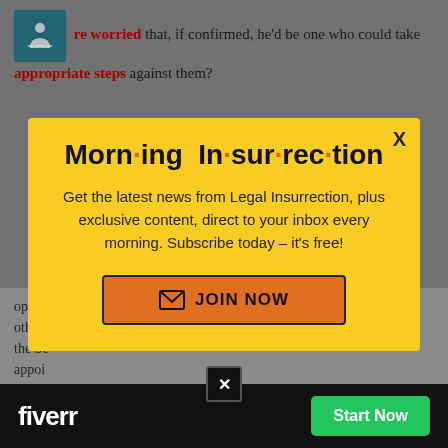re worried that, if confirmed, he'd be one who could take appropriate steps against them?
[Figure (screenshot): Yellow modal popup for 'Morning Insurrection' newsletter subscription with orange JOIN NOW button]
opposition to the nominee as a senator of Trumpism, and the more likely other members of the Senate would be to oppose his appointment
[Figure (screenshot): Fiverr advertisement bar at the bottom with Start Now button]